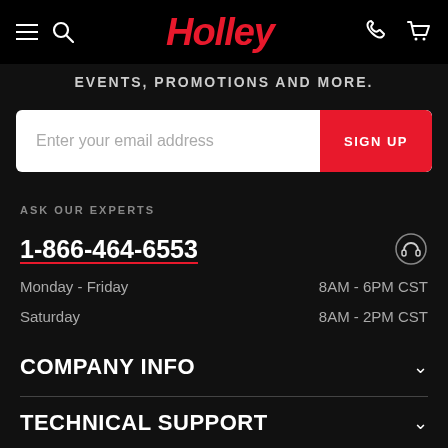Holley — navigation header with hamburger menu, search, logo, phone, and cart icons
EVENTS, PROMOTIONS AND MORE.
Enter your email address  SIGN UP
ASK OUR EXPERTS
1-866-464-6553
Monday - Friday  8AM - 6PM CST
Saturday  8AM - 2PM CST
COMPANY INFO
TECHNICAL SUPPORT